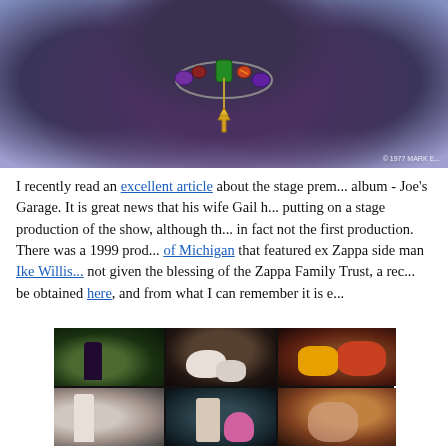[Figure (photo): Close-up photo of a person with curly dark hair wearing a light blue/grey shirt and a large decorative necklace with colorful beads and a gold pendant. Copyright watermark in bottom right reads '© 1977 MARK E...']
I recently read an excellent article about the stage premiere of Zappa's last album - Joe's Garage. It is great news that his wife Gail has apparently been putting on a stage production of the show, although this would appear to be in fact not the first production. There was a 1999 production by the University of Michigan that featured ex Zappa side man Ike Willis... not given the blessing of the Zappa Family Trust, a recording of which can be obtained here, and from what I can remember it is e...
[Figure (photo): A collage of six stage production photos arranged in a 3x2 grid showing scenes from what appears to be a theatrical production of Joe's Garage. The photos show various performers on stage with dramatic lighting against dark backgrounds.]